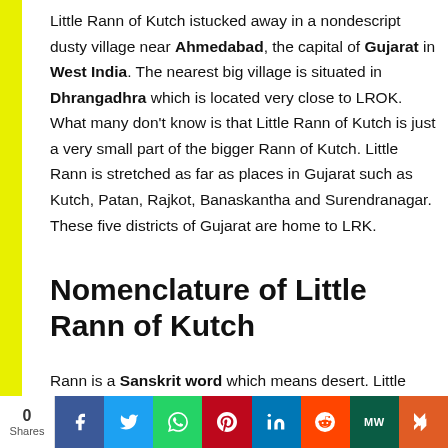Little Rann of Kutch istucked away in a nondescript dusty village near Ahmedabad, the capital of Gujarat in West India. The nearest big village is situated in Dhrangadhra which is located very close to LROK. What many don't know is that Little Rann of Kutch is just a very small part of the bigger Rann of Kutch. Little Rann is stretched as far as places in Gujarat such as Kutch, Patan, Rajkot, Banaskantha and Surendranagar. These five districts of Gujarat are home to LRK.
Nomenclature of Little Rann of Kutch
Rann is a Sanskrit word which means desert. Little Rann of Kutch is also known as Wild Ass Wildlife Sanctuary or Small Rann of Kutch. The abbreviated form of Little Rann of Kutch is LROK or LRK. Greater Rann of Kutch is popularly known as GROK. Little
0 Share | Facebook | Twitter | WhatsApp | Pinterest | LinkedIn | Reddit | MW | Mix